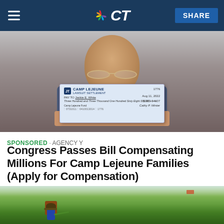NBC CT — SHARE
[Figure (photo): Elderly bald man holding up a Camp Lejeune Lawsuit Settlement check made out to Jackie E. White, dated Aug 11, 2022, amount 303-54607]
SPONSORED · AGENCY Y
Congress Passes Bill Compensating Millions For Camp Lejeune Families (Apply for Compensation)
[Figure (photo): Person with backpack sprayer working in a green agricultural field]